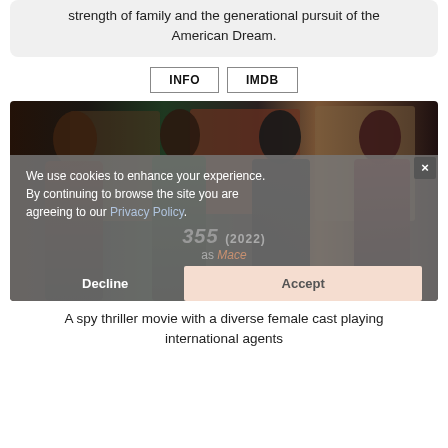A deeply personal coming-of-age story about the strength of family and the generational pursuit of the American Dream.
INFO  IMDB
[Figure (photo): Photo of four women in formal/evening attire standing together, likely a movie promotional image for 355 (2022).]
We use cookies to enhance your experience. By continuing to browse the site you are agreeing to our Privacy Policy.
Decline  Accept
355 (2022) as Mace
A spy thriller movie with a diverse female cast playing international agents